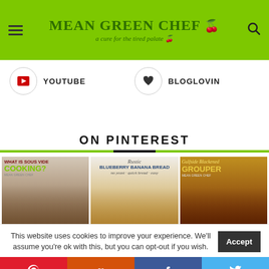MEAN GREEN CHEF — a cure for the tired palate
YOUTUBE
BLOGLOVIN
ON PINTEREST
[Figure (photo): Three Pinterest preview images: 1) What is Sous Vide Cooking? with raw meat image, 2) Rustic Blueberry Banana Bread - no yeast, quick bread, easy, 3) Gulfside Blackened Grouper]
This website uses cookies to improve your experience. We'll assume you're ok with this, but you can opt-out if you wish.
Accept
p y f t